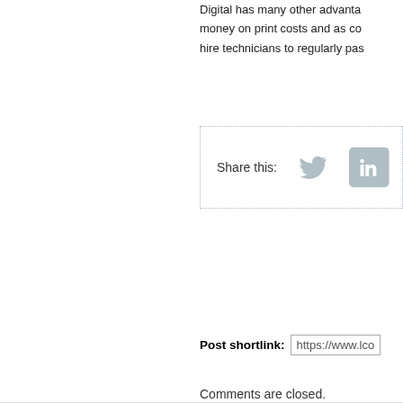Digital has many other advantages, money on print costs and as co hire technicians to regularly pas
[Figure (other): Share this section with dotted border containing Twitter and LinkedIn social icons]
Post shortlink: https://www.lco
Comments are closed.